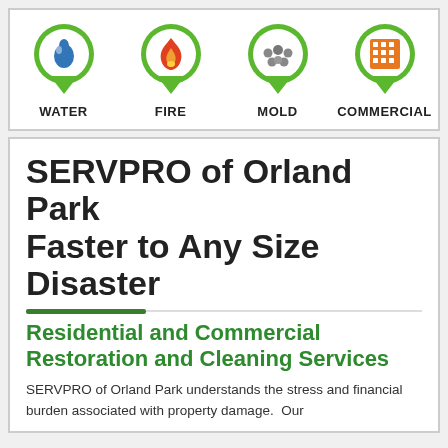[Figure (infographic): Four green map-pin icons with service category icons inside: Water (blue droplet), Fire (red flame), Mold (grey spores), Commercial (orange building), each labeled below in bold caps.]
SERVPRO of Orland Park
Faster to Any Size Disaster
Residential and Commercial Restoration and Cleaning Services
SERVPRO of Orland Park understands the stress and financial burden associated with property damage.  Our